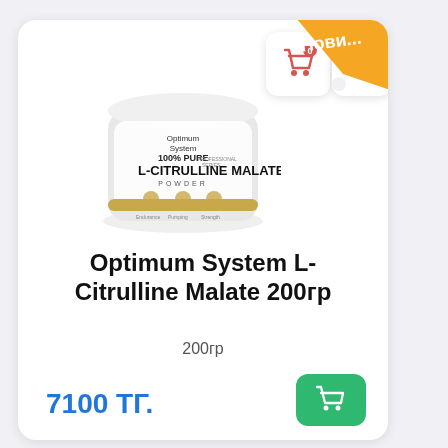[Figure (photo): A white tub/container of Optimum System 100% Pure L-Citrulline Malate Powder, Professional Series, with gold icons for Endurance, Pumping, Strength on the label.]
Optimum System L-Citrulline Malate 200гр
200гр
7100 ТГ.